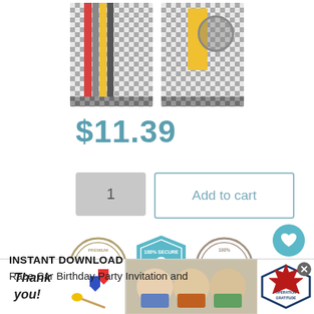[Figure (photo): Two product thumbnail images of race car themed scrapbook paper/printables with checkered pattern backgrounds]
$11.39
[Figure (other): Quantity selector showing '1' in a gray box]
[Figure (other): Add to cart button with teal border]
[Figure (other): Three trust badges: Premium Quality Printables, 100% Secure, 100% Satisfaction Guarantee]
[Figure (other): Wishlist heart button (teal circle) with count '1' and share button below]
INSTANT DOWNLOAD
Race Car Birthday Party Invitation and
[Figure (photo): Operation Gratitude advertisement banner at the bottom of the page showing 'Thank you!' with patriotic imagery and medical workers]